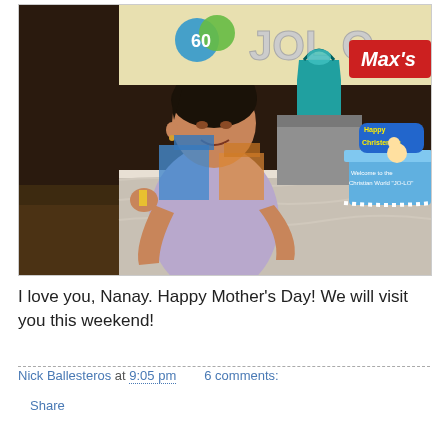[Figure (photo): A woman in a lavender t-shirt standing next to a table with a blue christening cake and gifts. A banner reading 'JOLO' is visible in the background along with a Max's restaurant sign. The cake reads 'Welcome to the Christian World JO-LO'.]
I love you, Nanay. Happy Mother's Day! We will visit you this weekend!
Nick Ballesteros at 9:05 pm   6 comments:
Share